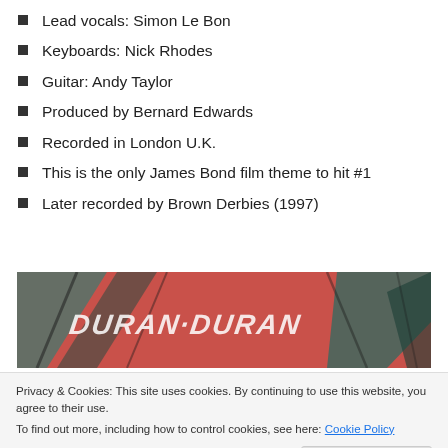Lead vocals: Simon Le Bon
Keyboards: Nick Rhodes
Guitar: Andy Taylor
Produced by Bernard Edwards
Recorded in London U.K.
This is the only James Bond film theme to hit #1
Later recorded by Brown Derbies (1997)
[Figure (photo): Duran Duran album/merchandise with red, teal, and black graphic design showing 'DURAN DURAN' text in diagonal white lettering]
Privacy & Cookies: This site uses cookies. By continuing to use this website, you agree to their use.
To find out more, including how to control cookies, see here: Cookie Policy
[Figure (photo): Bottom portion of Duran Duran graphic, red and teal color scheme]